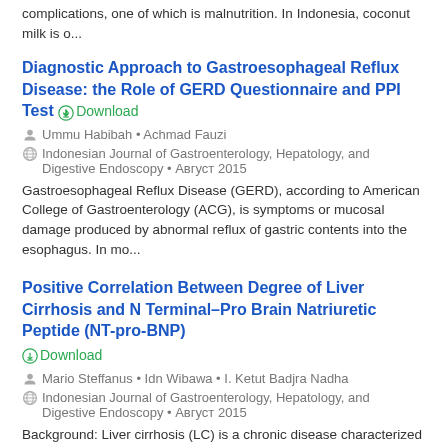complications, one of which is malnutrition. In Indonesia, coconut milk is o...
Diagnostic Approach to Gastroesophageal Reflux Disease: the Role of GERD Questionnaire and PPI Test
Ummu Habibah • Achmad Fauzi
Indonesian Journal of Gastroenterology, Hepatology, and Digestive Endoscopy • Август 2015
Gastroesophageal Reflux Disease (GERD), according to American College of Gastroenterology (ACG), is symptoms or mucosal damage produced by abnormal reflux of gastric contents into the esophagus. In mo...
Positive Correlation Between Degree of Liver Cirrhosis and N Terminal–Pro Brain Natriuretic Peptide (NT-pro-BNP)
Mario Steffanus • Idn Wibawa • I. Ketut Badjra Nadha
Indonesian Journal of Gastroenterology, Hepatology, and Digestive Endoscopy • Август 2015
Background: Liver cirrhosis (LC) is a chronic disease characterized by damage of liver parenchyme with wide fibrosis and nodules formation. One of LC complications is cirrhotic cardiomyopathy